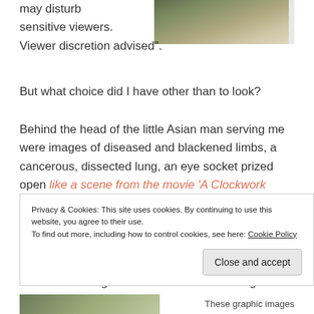[Figure (photo): Partial photo at top right showing a hand near what appears to be a box or package, cropped at top of page.]
may disturb sensitive viewers. Viewer discretion advised”.
But what choice did I have other than to look?
Behind the head of the little Asian man serving me were images of diseased and blackened limbs, a cancerous, dissected lung, an eye socket prized open like a scene from the movie ‘A Clockwork Orange’, and an emaciated man dying in a bed.
All of these images were on the covers of cigarette
Privacy & Cookies: This site uses cookies. By continuing to use this website, you agree to their use.
To find out more, including how to control cookies, see here: Cookie Policy
Close and accept
[Figure (photo): Partial photo visible at bottom left of page.]
These graphic images